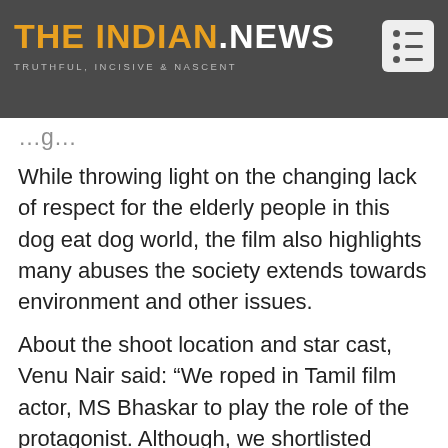THE INDIAN.NEWS — TRUTHFUL, INCISIVE & NASCENT
While throwing light on the changing lack of respect for the elderly people in this dog eat dog world, the film also highlights many abuses the society extends towards environment and other issues.
About the shoot location and star cast, Venu Nair said: “We roped in Tamil film actor, MS Bhaskar to play the role of the protagonist. Although, we shortlisted many actors from Mollywood, nevertheless, we found, Bhaskar as the apt actor to handle a powerful character. In addition to Bhaskar, others who had acted in this film includes Renjith Shekar Nair, Vishnu Prakash, Likha Rajan, Shyam Krishnan and Akhil Kumar. Prejith was hired for cinematography. We chose Kumily as the location for shooting this film, where we identified a small